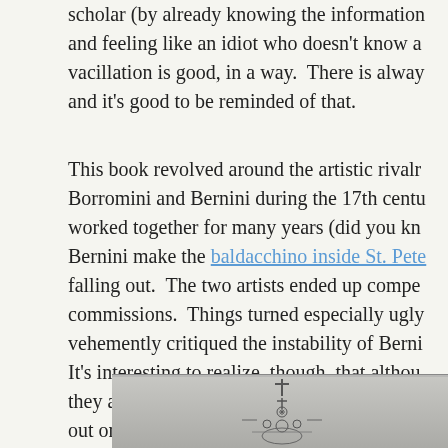scholar (by already knowing the information and feeling like an idiot who doesn't know a vacillation is good, in a way.  There is alway and it's good to be reminded of that.
This book revolved around the artistic rivalr Borromini and Bernini during the 17th centu worked together for many years (did you kn Bernini make the baldacchino inside St. Pete falling out.  The two artists ended up compe commissions.  Things turned especially ugly vehemently critiqued the instability of Berni It's interesting to realize, though, that althou they also undoubtedly influenced the work o out one such influence by suggesting that Be 1666) was influenced by Borromini's colonr (1652-53).
[Figure (photo): Grayscale historical image, partially visible, showing what appears to be an architectural or decorative element with a cross at top and ornate details below.]